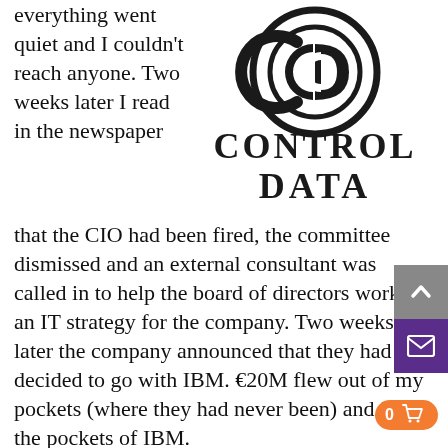everything went quiet and I couldn't reach anyone. Two weeks later I read in the newspaper
[Figure (logo): Control Data corporation logo — circular CD monogram above bold serif text reading CONTROL DATA]
that the CIO had been fired, the committee dismissed and an external consultant was called in to help the board of directors work out an IT strategy for the company. Two weeks later the company announced that they had decided to go with IBM. €20M flew out of my pockets (where they had never been) and into the pockets of IBM.
I called a meeting with all the people involved make sure we at least learned something from this